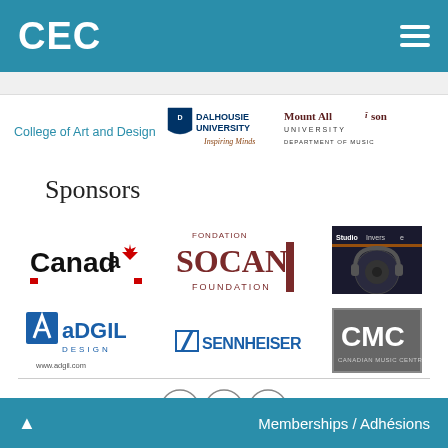CEC
College of Art and Design
[Figure (logo): Dalhousie University Inspiring Minds logo]
[Figure (logo): Mount Allison University Department of Music logo]
Sponsors
[Figure (logo): Canada wordmark logo with maple leaf]
[Figure (logo): Fondation SOCAN Foundation logo]
[Figure (logo): Studio Inverse logo - dark background with headphones]
[Figure (logo): ADGIL Design logo with www.adgil.com]
[Figure (logo): Sennheiser logo]
[Figure (logo): CMC Canadian Music Centre logo]
[Figure (infographic): Social media icons: email (@), Facebook (f), Twitter bird]
Memberships / Adhésions